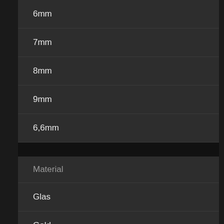6mm
7mm
8mm
9mm
6,6mm
Material
Glas
Gold
Naturstein
Ton
Stein...